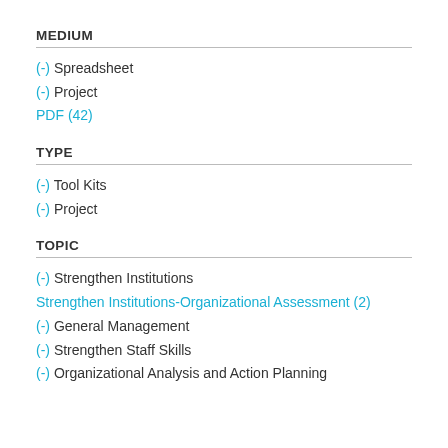MEDIUM
(-) Spreadsheet
(-) Project
PDF (42)
TYPE
(-) Tool Kits
(-) Project
TOPIC
(-) Strengthen Institutions
Strengthen Institutions-Organizational Assessment (2)
(-) General Management
(-) Strengthen Staff Skills
(-) Organizational Analysis and Action Planning